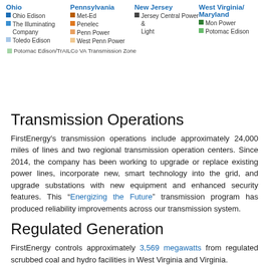[Figure (infographic): Legend showing utility companies by state: Ohio (Ohio Edison, The Illuminating Company, Toledo Edison), Pennsylvania (Met-Ed, Penelec, Penn Power, West Penn Power), New Jersey (Jersey Central Power & Light), West Virginia/Maryland (Mon Power, Potomac Edison), and Potomac Edison/TrAILCo VA Transmission Zone]
Transmission Operations
FirstEnergy’s transmission operations include approximately 24,000 miles of lines and two regional transmission operation centers. Since 2014, the company has been working to upgrade or replace existing power lines, incorporate new, smart technology into the grid, and upgrade substations with new equipment and enhanced security features. This “Energizing the Future” transmission program has produced reliability improvements across our transmission system.
Regulated Generation
FirstEnergy controls approximately 3,569 megawatts from regulated scrubbed coal and hydro facilities in West Virginia and Virginia.
Products and Services
FirstEnergy and its subsidiaries offer innovative solutions for home and business that are designed to meet the demands of today